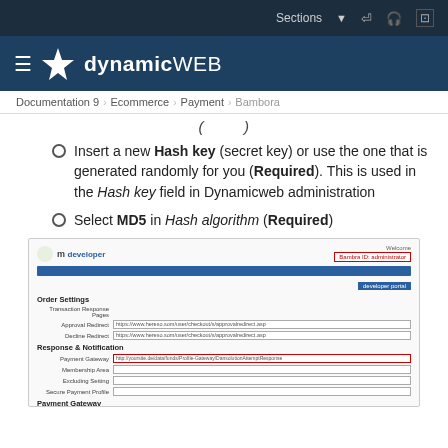Sections
dynamic WEB
Documentation 9 › Ecommerce › Payment › Bambora
Insert a new Hash key (secret key) or use the one that is generated randomly for you (Required). This is used in the Hash key field in Dynamicweb administration
Select MD5 in Hash algorithm (Required)
[Figure (screenshot): Screenshot of Bambora developer portal showing Order Settings with Transaction Response Pages, Payment Gateway fields highlighted in red, and Payment Gateway section options]